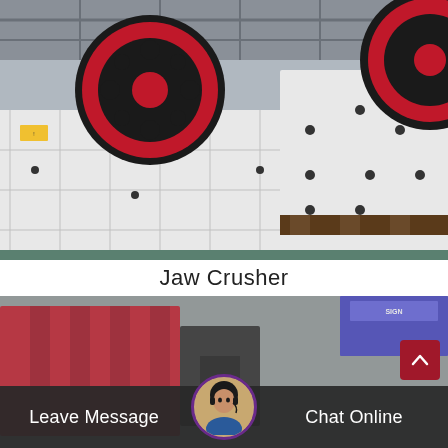[Figure (photo): Industrial jaw crusher machines in a factory setting. Large white metal machines with prominent red and black flywheel/pulley wheels. The machines are positioned on a teal/green factory floor with industrial ceiling structure visible above.]
Jaw Crusher
[Figure (photo): Partially visible second image of industrial crushing equipment, showing large red and dark-colored machine parts in a factory/warehouse environment. Image is partially obscured by the bottom UI bar.]
Leave Message
Chat Online